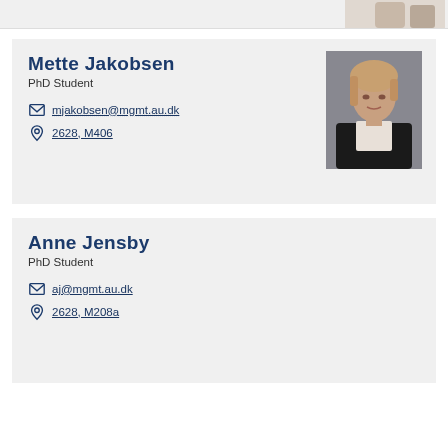[Figure (photo): Partial view of a person at the top of the page, cropped]
Mette Jakobsen
PhD Student
mjakobsen@mgmt.au.dk
2628, M406
[Figure (photo): Professional headshot of Mette Jakobsen, a woman with light hair wearing a dark blazer and white top]
Anne Jensby
PhD Student
aj@mgmt.au.dk
2628, M208a